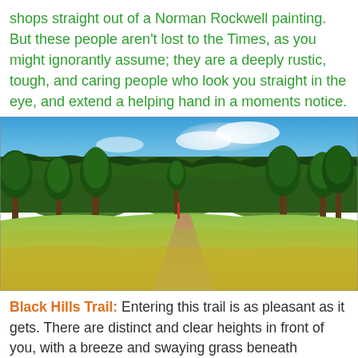shops straight out of a Norman Rockwell painting. But these people aren't lost to the Times, as you might ignorantly assume; they are a deeply rustic, tough, and caring people who look you straight in the eye, and extend a helping hand in a moments notice.
[Figure (photo): A scenic trail through green meadows with tall pine trees on both sides under a partly cloudy blue sky. A dirt path leads into the distance.]
Black Hills Trail: Entering this trail is as pleasant as it gets. There are distinct and clear heights in front of you, with a breeze and swaying grass beneath spaciously assorted Pines. The path appears to be a